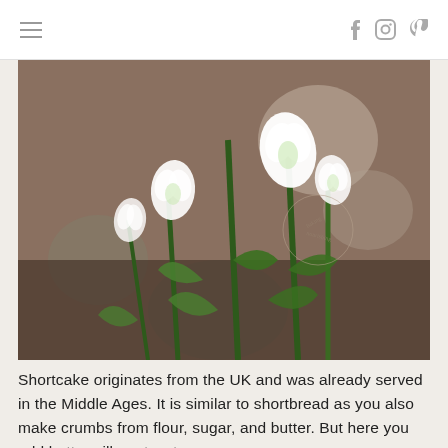navigation header with hamburger menu and social icons (Facebook, Instagram, Pinterest)
[Figure (photo): Close-up photograph of white snowdrop flowers with green stems and leaves against a blurred brown and green bokeh background. A circular watermark/logo is visible on the right side of the image.]
Shortcake originates from the UK and was already served in the Middle Ages. It is similar to shortbread as you also make crumbs from flour, sugar, and butter. But here you add buttermilk, not water or an